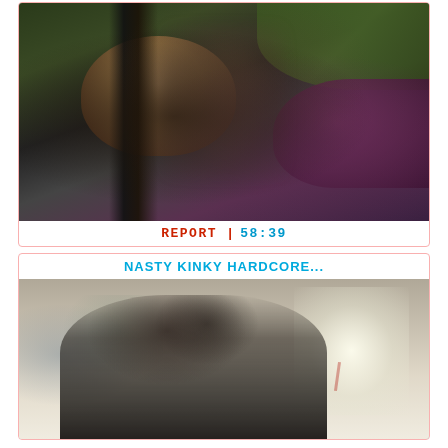[Figure (photo): Woman with dark hair leaning forward outdoors, blurred motion in center, purple/maroon shape on right, green foliage background top right]
REPORT | 58:39
NASTY KINKY HARDCORE...
[Figure (photo): Two people embracing or struggling against a concrete graffiti wall, bright light on right side, dark figures]